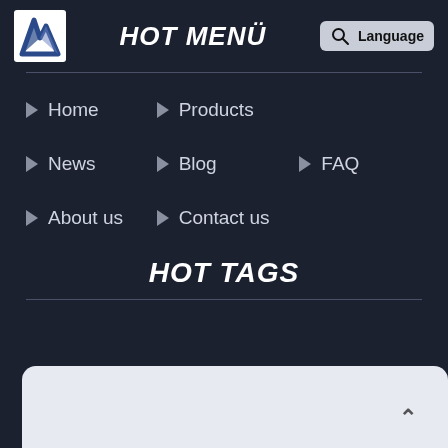HOT MENÜ
Home
Products
News
Blog
FAQ
About us
Contact us
HOT TAGS
[Figure (screenshot): Bottom card/panel with light gray background and scroll-to-top arrow button]